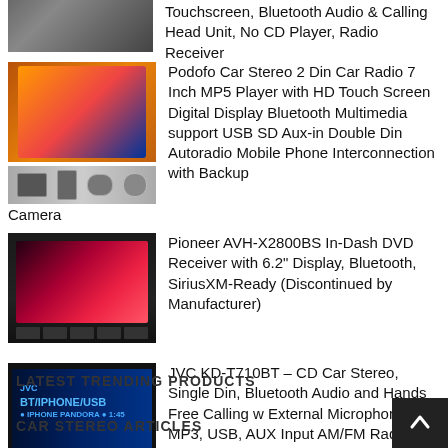[Figure (photo): Partial car stereo head unit (cropped top)]
Touchscreen, Bluetooth Audio & Calling Head Unit, No CD Player, Radio Receiver
[Figure (photo): Podofo Car Stereo 2 Din car radio with accessories: remote, microphone, bracket, camera]
Podofo Car Stereo 2 Din Car Radio 7 Inch MP5 Player with HD Touch Screen Digital Display Bluetooth Multimedia support USB SD Aux-in Double Din Autoradio Mobile Phone Interconnection with Backup Camera
[Figure (photo): Pioneer AVH-X2800BS in-dash DVD receiver with red screen display]
Pioneer AVH-X2800BS In-Dash DVD Receiver with 6.2" Display, Bluetooth, SiriusXM-Ready (Discontinued by Manufacturer)
[Figure (photo): JVC KD-T710BT CD Car Stereo single din with blue illuminated display showing BT/IPHONE/USB]
JVC KD-T710BT – CD Car Stereo, Single Din, Bluetooth Audio and Hands Free Calling w External Microphone, CD, MP3, USB, AUX Input AM/FM Radio, High Power Amp, Amazon Alexa Voice Control
LATEST TRENDING PRODUCTS
CAR STEREO ARTICLES